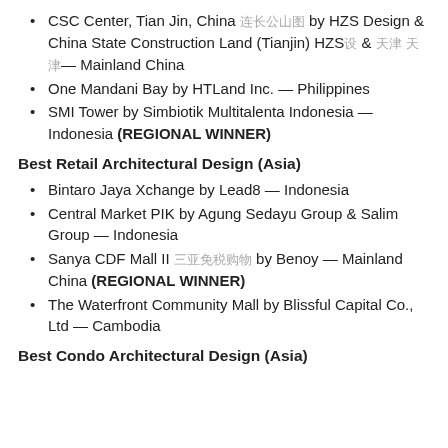CSC Center, Tian Jin, China [CJK] by HZS Design & China State Construction Land (Tianjin) HZS[CJK] & [CJK] [CJK]— Mainland China
One Mandani Bay by HTLand Inc. — Philippines
SMI Tower by Simbiotik Multitalenta Indonesia — Indonesia (REGIONAL WINNER)
Best Retail Architectural Design (Asia)
Bintaro Jaya Xchange by Lead8 — Indonesia
Central Market PIK by Agung Sedayu Group & Salim Group — Indonesia
Sanya CDF Mall II [CJK] by Benoy — Mainland China (REGIONAL WINNER)
The Waterfront Community Mall by Blissful Capital Co., Ltd — Cambodia
Best Condo Architectural Design (Asia)